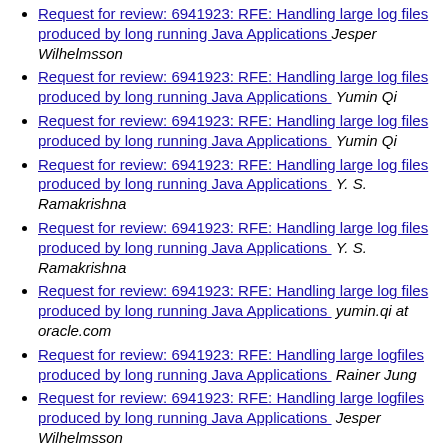Request for review: 6941923: RFE: Handling large log files produced by long running Java Applications  Jesper Wilhelmsson
Request for review: 6941923: RFE: Handling large log files produced by long running Java Applications   Yumin Qi
Request for review: 6941923: RFE: Handling large log files produced by long running Java Applications   Yumin Qi
Request for review: 6941923: RFE: Handling large log files produced by long running Java Applications   Y. S. Ramakrishna
Request for review: 6941923: RFE: Handling large log files produced by long running Java Applications   Y. S. Ramakrishna
Request for review: 6941923: RFE: Handling large log files produced by long running Java Applications   yumin.qi at oracle.com
Request for review: 6941923: RFE: Handling large logfiles produced by long running Java Applications   Rainer Jung
Request for review: 6941923: RFE: Handling large logfiles produced by long running Java Applications  Jesper Wilhelmsson
Request for review: 6941923: RFE: Handling large log files produced by long running Java Applications   Y. Srinivas Ramakrishna
Request for review: 6941923: RFE: Handling large log files